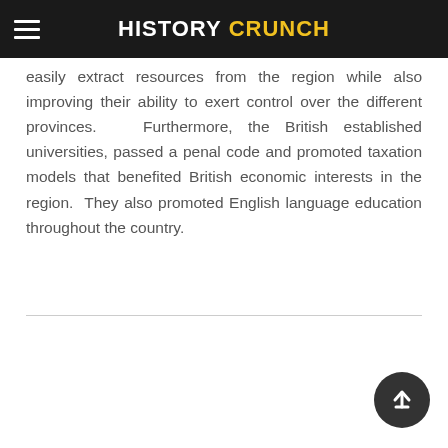HISTORY CRUNCH
building extensive roads, canals and railways. This was important for the British as it allowed them to more easily extract resources from the region while also improving their ability to exert control over the different provinces. Furthermore, the British established universities, passed a penal code and promoted taxation models that benefited British economic interests in the region. They also promoted English language education throughout the country.